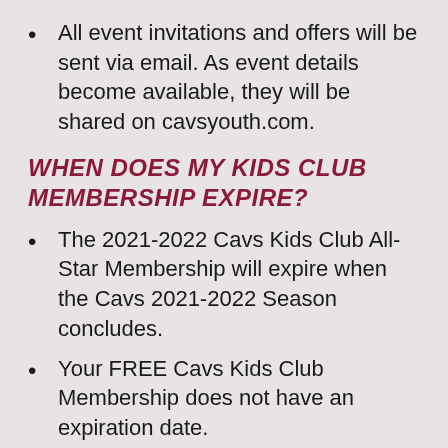All event invitations and offers will be sent via email. As event details become available, they will be shared on cavsyouth.com.
WHEN DOES MY KIDS CLUB MEMBERSHIP EXPIRE?
The 2021-2022 Cavs Kids Club All-Star Membership will expire when the Cavs 2021-2022 Season concludes.
Your FREE Cavs Kids Club Membership does not have an expiration date.
HOW CAN I REDEEM THE FREE CAVS TICKET INCLUDED WITH MY 2021-